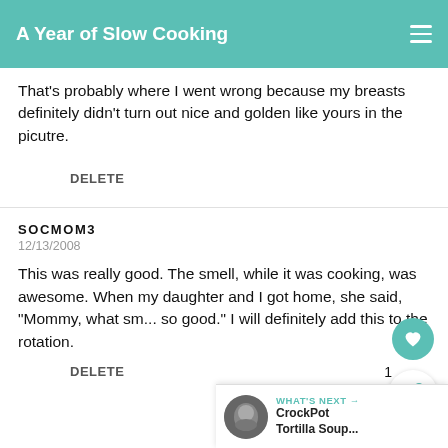A Year of Slow Cooking
That's probably where I went wrong because my breasts definitely didn't turn out nice and golden like yours in the picutre.
DELETE
SOCMOM3
12/13/2008
This was really good. The smell, while it was cooking, was awesome. When my daughter and I got home, she said, "Mommy, what sm... so good." I will definitely add this to the rotation.
DELETE
[Figure (other): What's Next banner with CrockPot Tortilla Soup... thumbnail and navigation arrow]